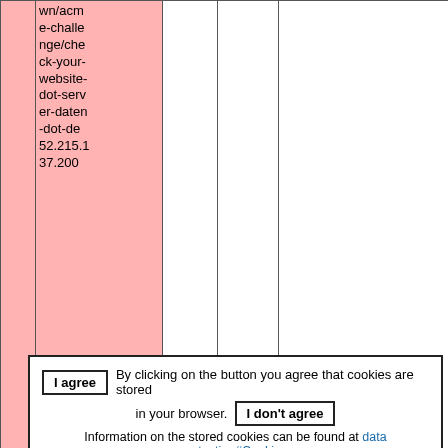| Status | URL | Code | Redirect | Description |
| --- | --- | --- | --- | --- |
|  | wn/acme-challenge/check-your-website-dot-server-daten-dot-de 52.215.137.200 |  |  |  |
| A | http://carolinechapron.com/ 52.215.137.200 | 301 | https://carolinechapron.com/ | correct redirect http - https with the same domain name |
| A | http://www... | 301 | http... | correct redirect http - https with th |
I agree  By clicking on the button you agree that cookies are stored in your browser.  I don't agree
Information on the stored cookies can be found at data protection#Cookies.